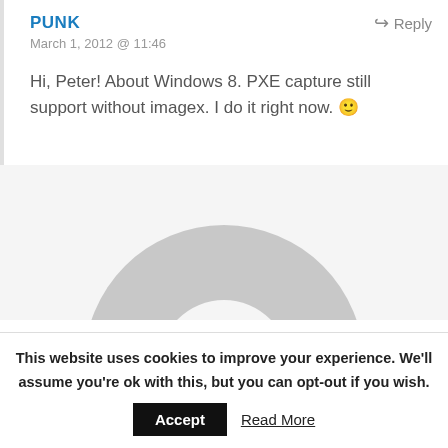PUNK
March 1, 2012 @ 11:46
Hi, Peter! About Windows 8. PXE capture still support without imagex. I do it right now. 🙂
[Figure (illustration): Gray circular avatar placeholder showing a donut/ring shape (top half visible), representing a default user profile image]
This website uses cookies to improve your experience. We'll assume you're ok with this, but you can opt-out if you wish.
Accept
Read More